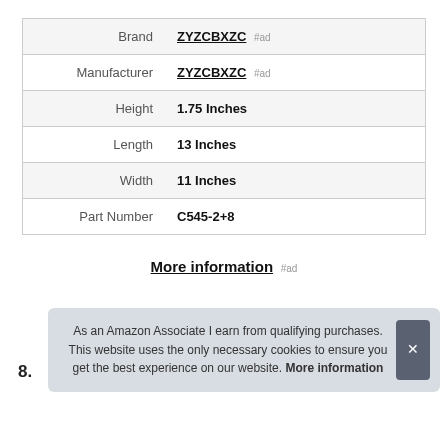|  |  |
| --- | --- |
| Brand | ZYZCBXZC #ad |
| Manufacturer | ZYZCBXZC #ad |
| Height | 1.75 Inches |
| Length | 13 Inches |
| Width | 11 Inches |
| Part Number | C545-2+8 |
More information #ad
As an Amazon Associate I earn from qualifying purchases. This website uses the only necessary cookies to ensure you get the best experience on our website. More information
8.